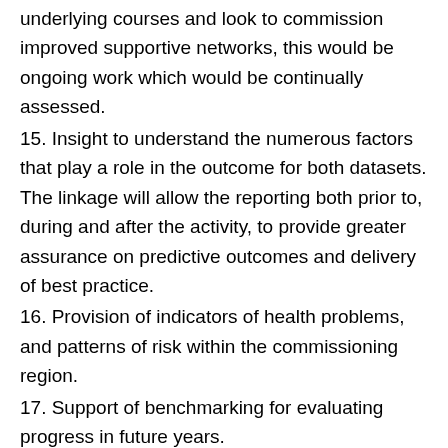underlying courses and look to commission improved supportive networks, this would be ongoing work which would be continually assessed.
15. Insight to understand the numerous factors that play a role in the outcome for both datasets. The linkage will allow the reporting both prior to, during and after the activity, to provide greater assurance on predictive outcomes and delivery of best practice.
16. Provision of indicators of health problems, and patterns of risk within the commissioning region.
17. Support of benchmarking for evaluating progress in future years.
18. Allow reporting to drive changes and improve the quality of commissioned services and health outcomes for people.
19. Assists commissioners to make better decisions